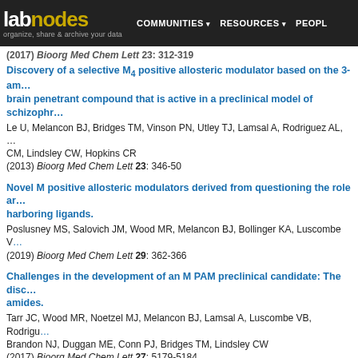labnodes — organize, share & archive your data | COMMUNITIES | RESOURCES | PEOPLE
(2017) Bioorg Med Chem Lett 23: 312-319
Discovery of a selective M4 positive allosteric modulator based on the 3-am... brain penetrant compound that is active in a preclinical model of schizophr...
Le U, Melancon BJ, Bridges TM, Vinson PN, Utley TJ, Lamsal A, Rodriguez AL, ...CM, Lindsley CW, Hopkins CR
(2013) Bioorg Med Chem Lett 23: 346-50
Novel M positive allosteric modulators derived from questioning the role ar... harboring ligands.
Poslusney MS, Salovich JM, Wood MR, Melancon BJ, Bollinger KA, Luscombe V...
(2019) Bioorg Med Chem Lett 29: 362-366
Challenges in the development of an M PAM preclinical candidate: The disco... amides.
Tarr JC, Wood MR, Noetzel MJ, Melancon BJ, Lamsal A, Luscombe VB, Rodrigu... Brandon NJ, Duggan ME, Conn PJ, Bridges TM, Lindsley CW
(2017) Bioorg Med Chem Lett 27: 5179-5184
Discovery of a novel 2,4-dimethylquinoline-6-carboxamide M positive allost...
Long MF, Engers JL, Chang S, Zhan X, Weiner RL, Luscombe VB, Rodriguez AL...
(2017) Bioorg Med Chem Lett 27: 4999-5001
Discovery of a novel, CNS penetrant M PAM chemotype based on a 6-fluoro...
Bewley BR, Spearing PK, Weiner RL, Luscombe VB, Zhan X, Chang S, Cho HP,...
(2017) Bioorg Med Chem Lett 27: 4274-4279